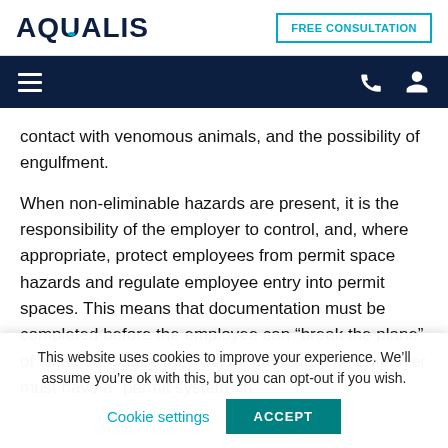AQUALIS | FREE CONSULTATION
contact with venomous animals, and the possibility of engulfment.
When non-eliminable hazards are present, it is the responsibility of the employer to control, and, where appropriate, protect employees from permit space hazards and regulate employee entry into permit spaces. This means that documentation must be completed before the employee can “break the plane” of whatever space they will be entering. The employer must have a “permit system” in
This website uses cookies to improve your experience. We’ll assume you’re ok with this, but you can opt-out if you wish.